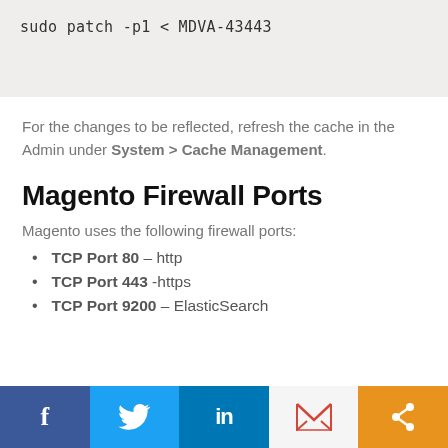sudo patch -p1 < MDVA-43443
For the changes to be reflected, refresh the cache in the Admin under System > Cache Management.
Magento Firewall Ports
Magento uses the following firewall ports:
TCP Port 80 – http
TCP Port 443 -https
TCP Port 9200 – ElasticSearch